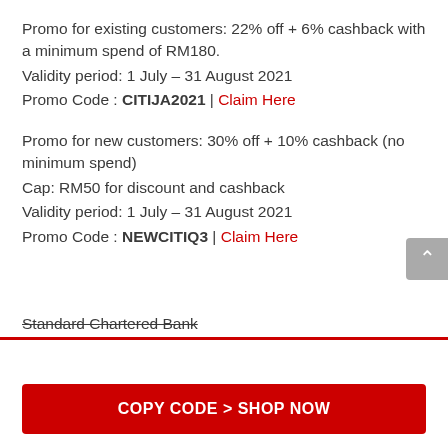Promo for existing customers: 22% off + 6% cashback with a minimum spend of RM180.
Validity period: 1 July – 31 August 2021
Promo Code : CITIJA2021 | Claim Here
Promo for new customers: 30% off + 10% cashback (no minimum spend)
Cap: RM50 for discount and cashback
Validity period: 1 July – 31 August 2021
Promo Code : NEWCITIQ3 | Claim Here
Standard Chartered Bank
COPY CODE > SHOP NOW